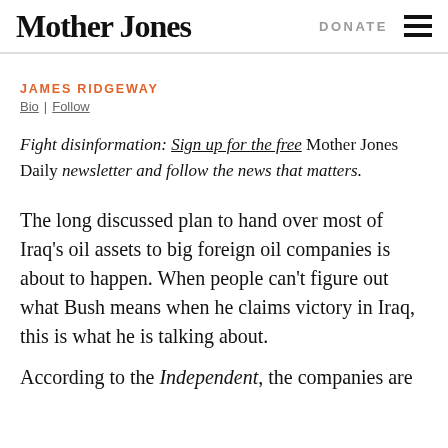Mother Jones | DONATE
JAMES RIDGEWAY
Bio | Follow
Fight disinformation: Sign up for the free Mother Jones Daily newsletter and follow the news that matters.
The long discussed plan to hand over most of Iraq's oil assets to big foreign oil companies is about to happen. When people can't figure out what Bush means when he claims victory in Iraq, this is what he is talking about.
According to the Independent, the companies are